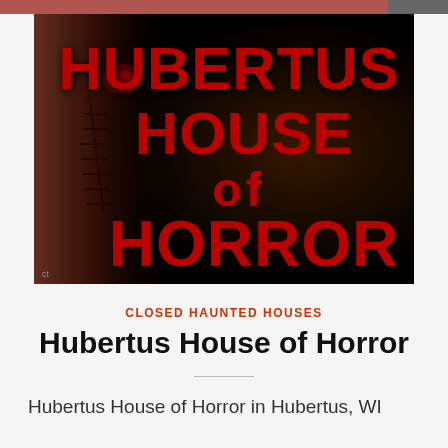[Figure (photo): Promotional image for Hubertus House of Horror showing large red horror-style text reading 'HUBERTUS HOUSE of HORROR' on a dark background, with a close-up of a zombie/horror face with stitches on the left side.]
CLOSED HAUNTED HOUSES
Hubertus House of Horror
Hubertus House of Horror in Hubertus, WI